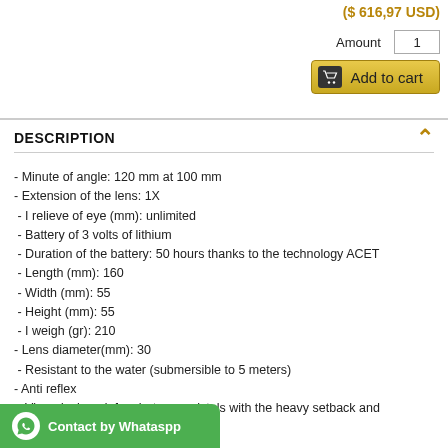($ 616,97 USD)
Amount  1
[Figure (other): Add to cart button with cart icon and golden background]
DESCRIPTION
- Minute of angle: 120 mm at 100 mm
- Extension of the lens: 1X
- I relieve of eye (mm): unlimited
- Battery of 3 volts of lithium
- Duration of the battery: 50 hours thanks to the technology ACET
- Length (mm): 160
- Width (mm): 55
- Height (mm): 55
- I weigh (gr): 210
- Lens diameter(mm): 30
- Resistant to the water (submersible to 5 meters)
- Anti reflex
- Visor designed  for shotguns, pistols with the heavy setback and semiautomatic firearms
- Suitable for the hunt for deer
- perfect visor in climatological extreme conditions
- Cutlery of a material of rugose tact that provides major resistance to him to the blows
- Not included mounts
[Figure (other): Contact by Whatsapp green button with WhatsApp icon]